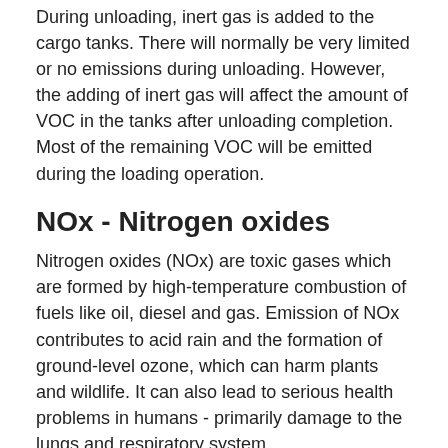During unloading, inert gas is added to the cargo tanks. There will normally be very limited or no emissions during unloading. However, the adding of inert gas will affect the amount of VOC in the tanks after unloading completion. Most of the remaining VOC will be emitted during the loading operation.
NOx - Nitrogen oxides
Nitrogen oxides (NOx) are toxic gases which are formed by high-temperature combustion of fuels like oil, diesel and gas. Emission of NOx contributes to acid rain and the formation of ground-level ozone, which can harm plants and wildlife. It can also lead to serious health problems in humans - primarily damage to the lungs and respiratory system.
The major sources of man-made NOx emissions in Norway are energy production, road traffic and shipping. Domestic shipping and fishing account for about a third of the total emissions. However, it is not only Norwegian emissions that threaten our nature; this kind of air pollution can be carried over long distances and across national borders.
Through the Gothenburg Protocol, Norway has undertaken to